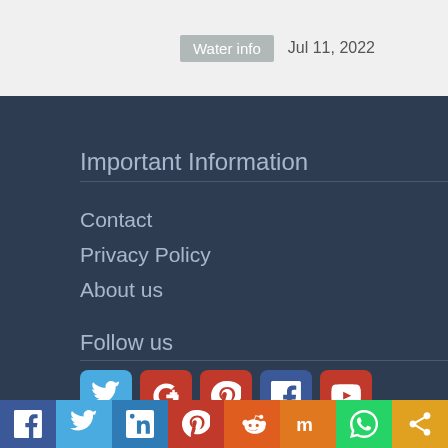Water info  Jul 11, 2022
Important Information
Contact
Privacy Policy
About us
Follow us
[Figure (other): Social media icon buttons: Twitter, Google+, Pinterest, Facebook, YouTube]
Share bar: Facebook, Twitter, LinkedIn, Pinterest, Reddit, Mix, WhatsApp, Share